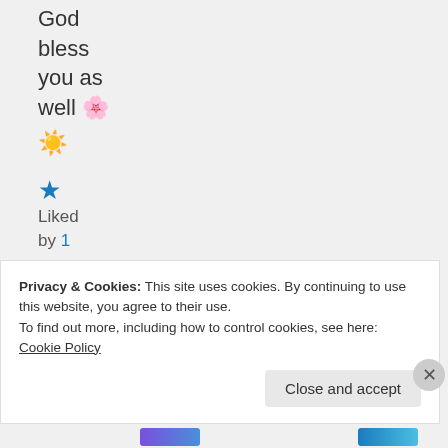God bless you as well 🌸
☀️
★ Liked by 1 person
Log in to Reply
Privacy & Cookies: This site uses cookies. By continuing to use this website, you agree to their use.
To find out more, including how to control cookies, see here: Cookie Policy